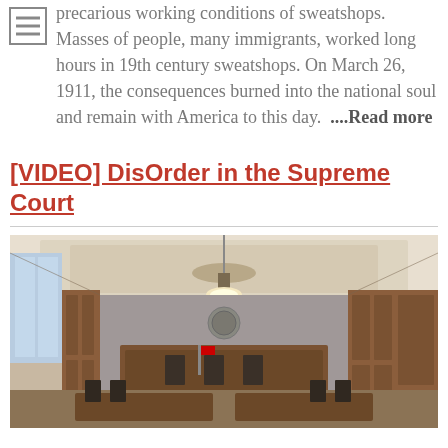precarious working conditions of sweatshops. Masses of people, many immigrants, worked long hours in 19th century sweatshops. On March 26, 1911, the consequences burned into the national soul and remain with America to this day.  ....Read more
[VIDEO] DisOrder in the Supreme Court
[Figure (photo): Interior of a courtroom with wood paneling, a central hanging light fixture, judicial bench at the far end, and rows of seats in the foreground. The room has high ceilings with recessed lighting and tall windows on the left side.]